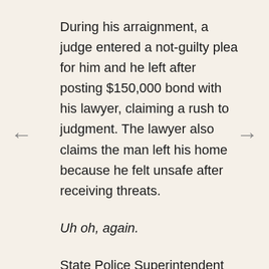During his arraignment, a judge entered a not-guilty plea for him and he left after posting $150,000 bond with his lawyer, claiming a rush to judgment. The lawyer also claims the man left his home because he felt unsafe after receiving threats.
Uh oh, again.
State Police Superintendent George Beach said Nauman Hussein is solely responsible for the limo being on the road that night. If he's found guilty, he could face up to four years in prison.